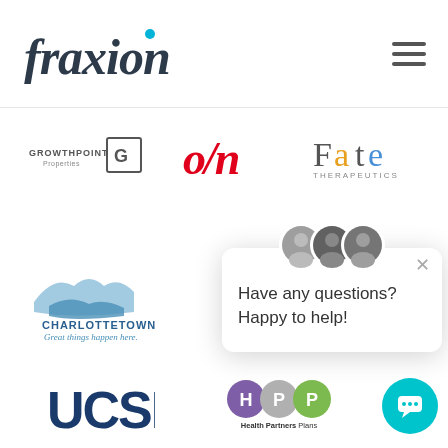[Figure (logo): Fraxion logo with hamburger menu icon in header]
[Figure (logo): Growthpoint logo, OSN logo, Fate Therapeutics logo in a row]
[Figure (logo): Charlottetown Great things happen here logo]
[Figure (screenshot): Chat popup with avatars saying Have any questions? Happy to help!]
[Figure (logo): UCSF logo and Health Partners Plans logo at bottom]
[Figure (other): Teal chat button at bottom right]